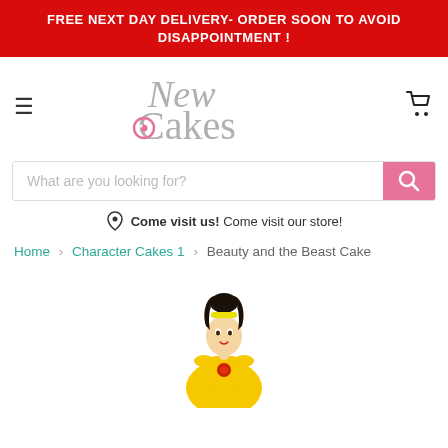FREE NEXT DAY DELIVERY- ORDER SOON TO AVOID DISAPPOINTMENT !
[Figure (logo): New Cakes logo with stylized text, 'New' in italic gray and 'Cakes' in gray with a pink swirl on the C]
[Figure (screenshot): Search bar with placeholder text 'What are you looking for?' and pink search button]
Come visit us! Come visit our store!
Home > Character Cakes 1 > Beauty and the Beast Cake
[Figure (photo): Beauty and the Beast cake topper figure: Belle doll with dark hair, yellow headband, yellow dress with red rose]